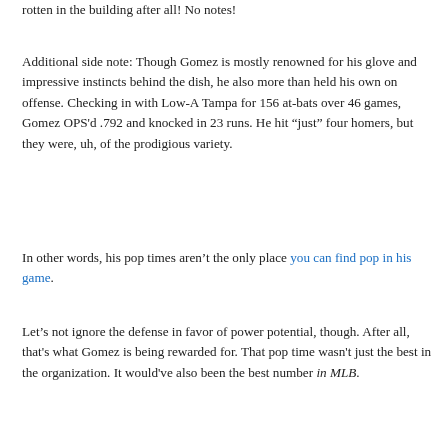rotten in the building after all! No notes!
Additional side note: Though Gomez is mostly renowned for his glove and impressive instincts behind the dish, he also more than held his own on offense. Checking in with Low-A Tampa for 156 at-bats over 46 games, Gomez OPS'd .792 and knocked in 23 runs. He hit “just” four homers, but they were, uh, of the prodigious variety.
In other words, his pop times aren’t the only place you can find pop in his game.
Let’s not ignore the defense in favor of power potential, though. After all, that's what Gomez is being rewarded for. That pop time wasn't just the best in the organization. It would've also been the best number in MLB.